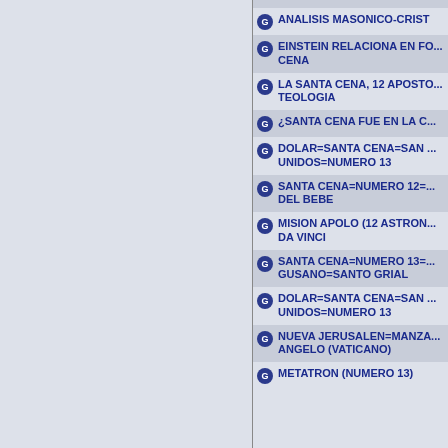ANALISIS MASONICO-CRIST...
EINSTEIN RELACIONA EN FO... CENA
LA SANTA CENA, 12 APOSTO... TEOLOGIA
¿SANTA CENA FUE EN LA C...
DOLAR=SANTA CENA=SAN ... UNIDOS=NUMERO 13
SANTA CENA=NUMERO 12=... DEL BEBE
MISION APOLO (12 ASTRON... DA VINCI
SANTA CENA=NUMERO 13=... GUSANO=SANTO GRIAL
DOLAR=SANTA CENA=SAN ... UNIDOS=NUMERO 13
NUEVA JERUSALEN=MANZA... ANGELO (VATICANO)
METATRON (NUMERO 13)